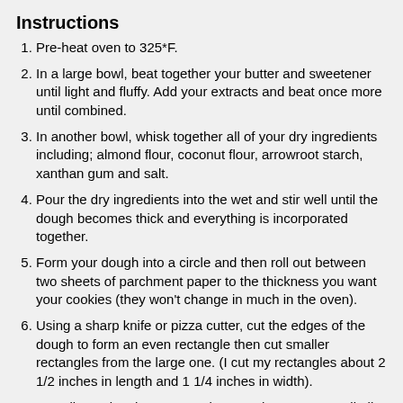Instructions
Pre-heat oven to 325*F.
In a large bowl, beat together your butter and sweetener until light and fluffy. Add your extracts and beat once more until combined.
In another bowl, whisk together all of your dry ingredients including; almond flour, coconut flour, arrowroot starch, xanthan gum and salt.
Pour the dry ingredients into the wet and stir well until the dough becomes thick and everything is incorporated together.
Form your dough into a circle and then roll out between two sheets of parchment paper to the thickness you want your cookies (they won't change in much in the oven).
Using a sharp knife or pizza cutter, cut the edges of the dough to form an even rectangle then cut smaller rectangles from the large one. (I cut my rectangles about 2 1/2 inches in length and 1 1/4 inches in width).
Re-roll any dough scraps and repeat the process until all of